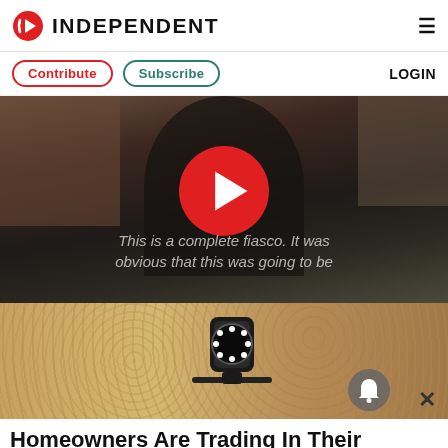INDEPENDENT
Contribute  Subscribe  LOGIN
[Figure (screenshot): Video player showing a man in a suit outside a brick building with a large red play button overlay and subtitle text: 'This is a complete fiasco. It was obvious that this was going to be']
[Figure (photo): Close-up image of a doorbell camera mounted on a rough stone/stucco wall]
Homeowners Are Trading In Their Doorbell Cams For This